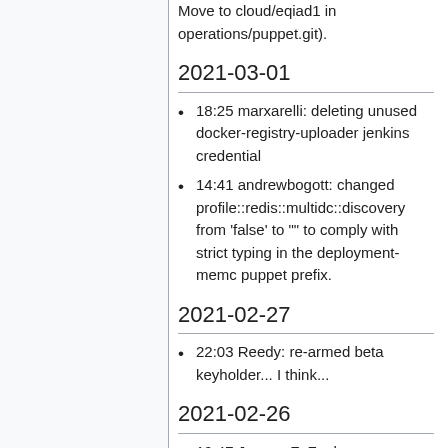Move to cloud/eqiad1 in operations/puppet.git).
2021-03-01
18:25 marxarelli: deleting unused docker-registry-uploader jenkins credential
14:41 andrewbogott: changed profile::redis::multidc::discovery from 'false' to "" to comply with strict typing in the deployment-memc puppet prefix.
2021-02-27
22:03 Reedy: re-armed beta keyholder... I think...
2021-02-26
19:47 James_F: Zuul: